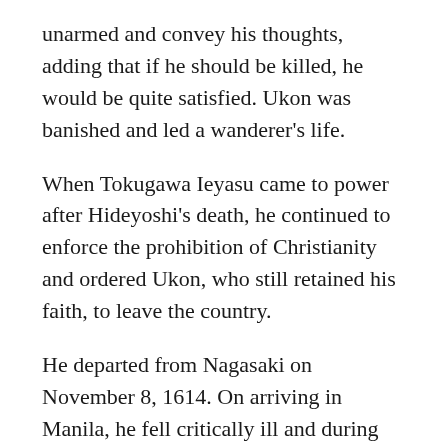unarmed and convey his thoughts, adding that if he should be killed, he would be quite satisfied. Ukon was banished and led a wanderer's life.
When Tokugawa Ieyasu came to power after Hideyoshi's death, he continued to enforce the prohibition of Christianity and ordered Ukon, who still retained his faith, to leave the country.
He departed from Nagasaki on November 8, 1614. On arriving in Manila, he fell critically ill and during the night of February 3, 1615, was called to the Lord. Not only banished but also dying in exile, Ukon gained high honor in Manila as a martyr immediately after his death. At present, the Catholic Bishops' Conference of Japan is petitioning for his canonization as a martyr.